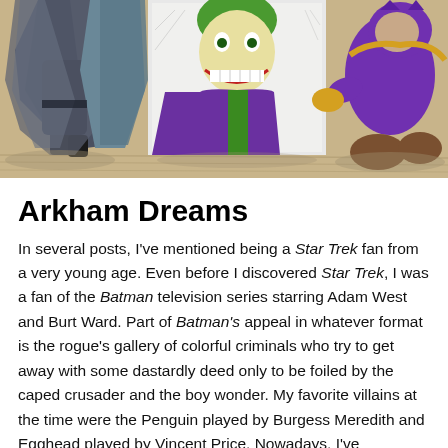[Figure (photo): Photograph of Batman-related action figures and comic art on a wooden surface. On the left is a Batman figure in a dark cape, in the center is a comic book panel or poster showing a green villain (likely the Joker) with a laughing expression, and on the right is a purple and yellow villain figure crouching.]
Arkham Dreams
In several posts, I've mentioned being a Star Trek fan from a very young age. Even before I discovered Star Trek, I was a fan of the Batman television series starring Adam West and Burt Ward. Part of Batman's appeal in whatever format is the rogue's gallery of colorful criminals who try to get away with some dastardly deed only to be foiled by the caped crusader and the boy wonder. My favorite villains at the time were the Penguin played by Burgess Meredith and Egghead played by Vincent Price. Nowadays, I've